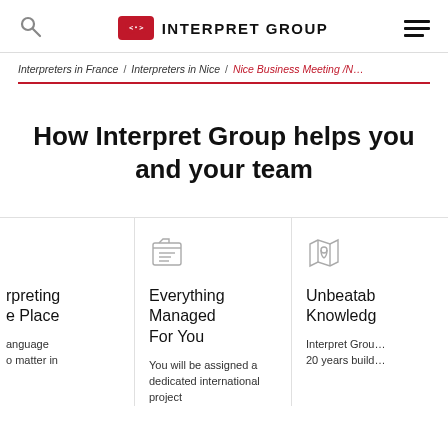Interpret Group
Interpreters in France / Interpreters in Nice / Nice Business Meeting /N…
How Interpret Group helps you and your team
Everything Managed For You
You will be assigned a dedicated international project
Unbeatable Knowledge
Interpret Group 20 years build…